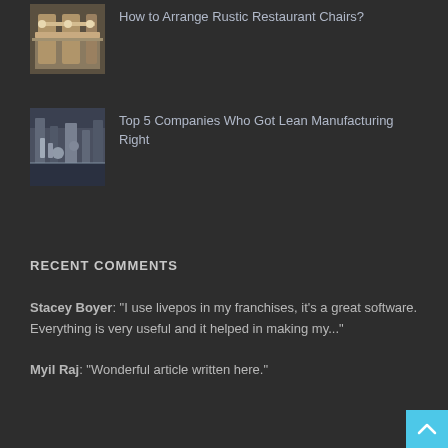[Figure (photo): Thumbnail photo of rustic restaurant chairs and table]
How to Arrange Rustic Restaurant Chairs?
[Figure (photo): Thumbnail photo of a manufacturing facility]
Top 5 Companies Who Got Lean Manufacturing Right
RECENT COMMENTS
Stacey Boyer: “I use livepos in my franchises, it’s a great software. Everything is very useful and it helped in making my...”
Myil Raj: “Wonderful article written here.”